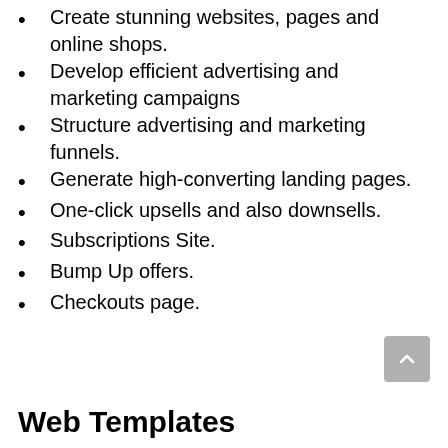Create stunning websites, pages and online shops.
Develop efficient advertising and marketing campaigns
Structure advertising and marketing funnels.
Generate high-converting landing pages.
One-click upsells and also downsells.
Subscriptions Site.
Bump Up offers.
Checkouts page.
Web Templates